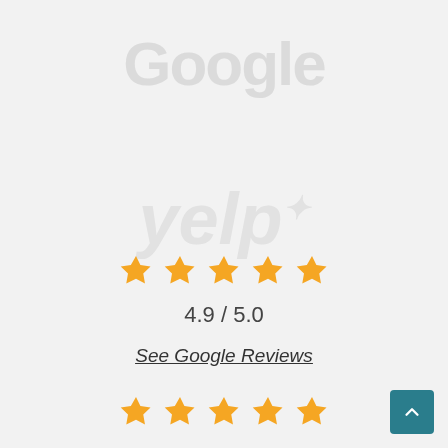[Figure (logo): Google logo watermark, large light gray text]
[Figure (logo): Yelp logo watermark, large light gray italic text]
[Figure (other): 5 gold stars rating row (top)]
4.9 / 5.0
See Google Reviews
[Figure (other): 5 gold stars rating row (bottom)]